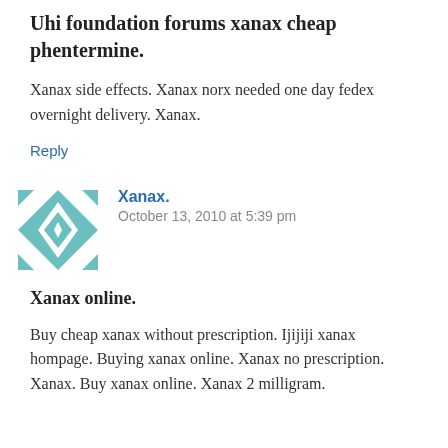Uhi foundation forums xanax cheap phentermine.
Xanax side effects. Xanax norx needed one day fedex overnight delivery. Xanax.
Reply
[Figure (illustration): Avatar image: decorative geometric quilt pattern in teal/white with star and diamond shapes]
Xanax.
October 13, 2010 at 5:39 pm
Xanax online.
Buy cheap xanax without prescription. Ijijiji xanax hompage. Buying xanax online. Xanax no prescription. Xanax. Buy xanax online. Xanax 2 milligram.